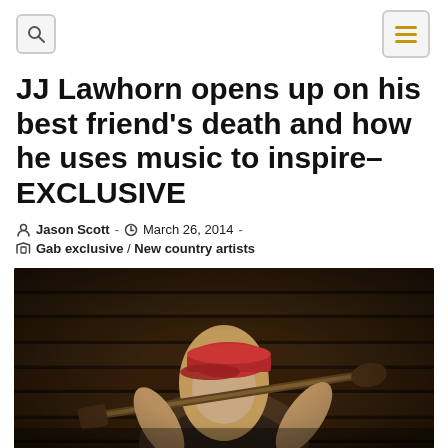Search / Menu navigation bar
JJ Lawhorn opens up on his best friend's death and how he uses music to inspire–EXCLUSIVE
Jason Scott · March 26, 2014 · Gab exclusive / New country artists
[Figure (photo): A person with blonde hair wearing a red cap, holding a guitar neck or stick across their shoulders in a rustic wooden barn or log cabin interior. The person wears a dark v-neck shirt and has visible tattoos on their arm.]